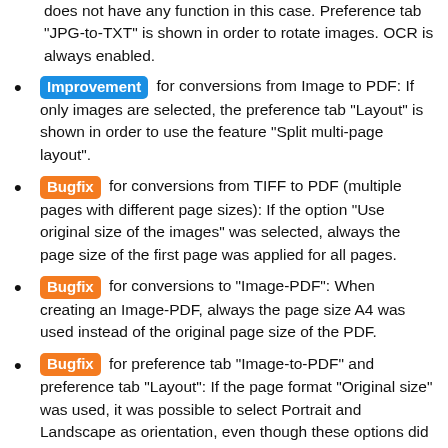does not have any function in this case. Preference tab "JPG-to-TXT" is shown in order to rotate images. OCR is always enabled.
Improvement for conversions from Image to PDF: If only images are selected, the preference tab "Layout" is shown in order to use the feature "Split multi-page layout".
Bugfix for conversions from TIFF to PDF (multiple pages with different page sizes): If the option "Use original size of the images" was selected, always the page size of the first page was applied for all pages.
Bugfix for conversions to "Image-PDF": When creating an Image-PDF, always the page size A4 was used instead of the original page size of the PDF.
Bugfix for preference tab "Image-to-PDF" and preference tab "Layout": If the page format "Original size" was used, it was possible to select Portrait and Landscape as orientation, even though these options did not have any use.